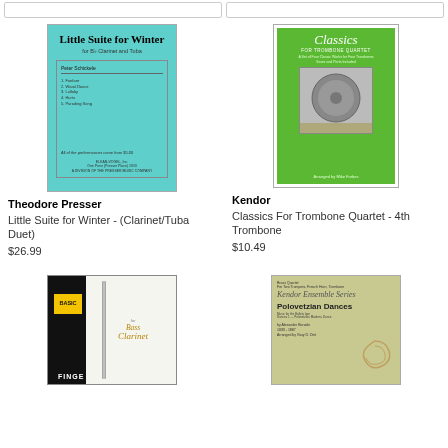[Figure (illustration): Book cover: Little Suite for Winter for Bb Clarinet and Tuba, by Peter Schickele, teal/turquoise color, Theodore Presser]
Theodore Presser
Little Suite for Winter - (Clarinet/Tuba Duet)
$26.99
[Figure (illustration): Book cover: Classics For Trombone Quartet, arranged by Mike Forbes, green cover with trombone bell image, Kendor]
Kendor
Classics For Trombone Quartet - 4th Trombone
$10.49
[Figure (illustration): Book cover: Basic Fingering for Bass Clarinet, black and yellow cover with clarinet illustration]
[Figure (illustration): Book cover: Polovetzian Dances, Kendor Ensemble Series, for Alexander Borodin, arranged by Gary D. Deit, olive/khaki colored cover with decorative swirl]